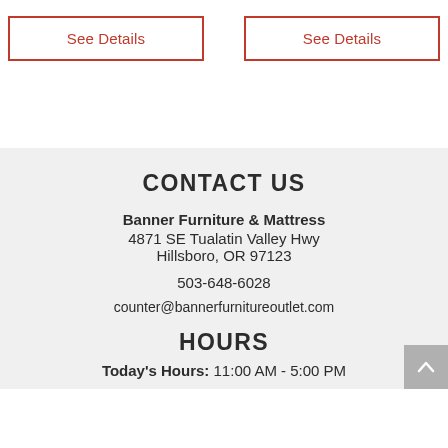See Details
See Details
CONTACT US
Banner Furniture & Mattress
4871 SE Tualatin Valley Hwy
Hillsboro, OR 97123
503-648-6028
counter@bannerfurnitureoutlet.com
HOURS
Today's Hours: 11:00 AM - 5:00 PM